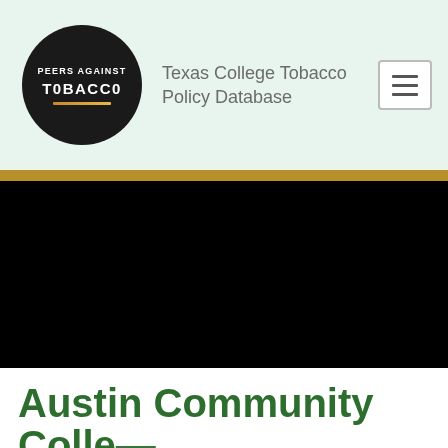[Figure (logo): Peers Against Tobacco circular logo — black circle with white text reading PEERS AGAINST TOBACCO with a gold/yellow underline beneath TOBACCO]
Texas College Tobacco Policy Database
[Figure (screenshot): Navigation hamburger menu icon — three horizontal lines inside a rounded rectangle border]
[Figure (photo): Full-width black hero image/banner area below the gold stripe]
Austin Community College – South Austin